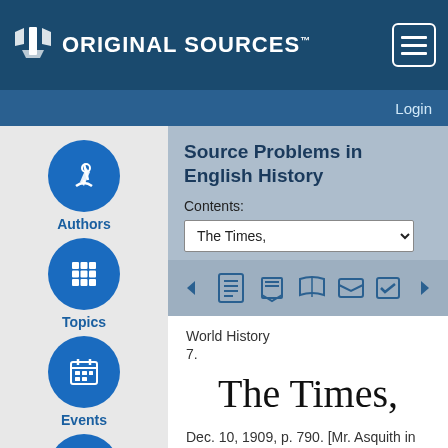Original Sources™
Login
Source Problems in English History
Contents:
The Times,
World History
7.
The Times,
Dec. 10, 1909, p. 790. [Mr. Asquith in the Commons, Dec. 2d.]